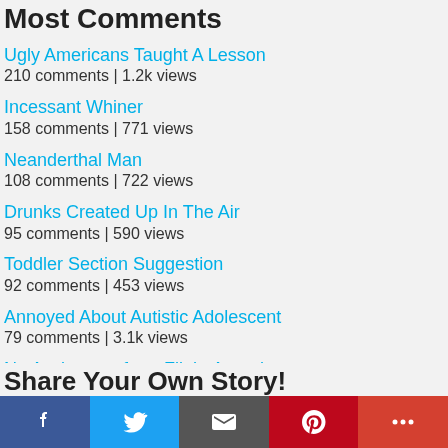Most Comments
Ugly Americans Taught A Lesson
210 comments | 1.2k views
Incessant Whiner
158 comments | 771 views
Neanderthal Man
108 comments | 722 views
Drunks Created Up In The Air
95 comments | 590 views
Toddler Section Suggestion
92 comments | 453 views
Annoyed About Autistic Adolescent
79 comments | 3.1k views
No Assistance from Flight Attendant
70 comments | 1.4k views
•
Share Your Own Story!
Facebook | Twitter | Email | Pinterest | More